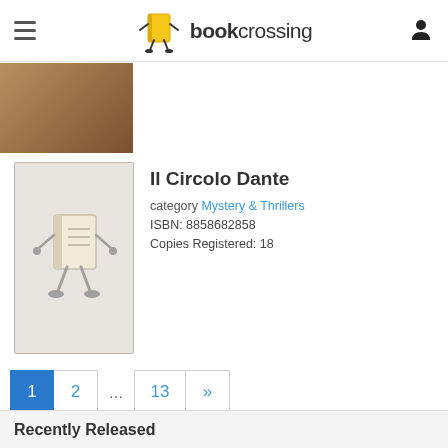bookcrossing
[Figure (photo): Partially visible book cover image at top of page]
Il Circolo Dante
category Mystery & Thrillers
ISBN: 8858682858
Copies Registered: 18
[Figure (illustration): BookCrossing placeholder book cover with walking book logo]
1 2 ... 13 »
Recently Released